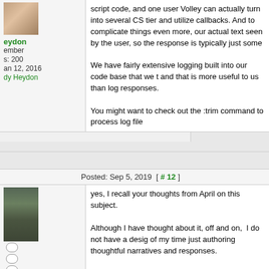script code, and one user volley can actually turn into several CS tier and utilize callbacks. And to complicate things even more, our actual text seen by the user, so the response is typically just some
We have fairly extensive logging built into our code base that we t and that is more useful to us than log responses.
You might want to check out the :trim command to process log file
Posted: Sep 5, 2019  [ # 12 ]
yes, I recall your thoughts from April on this subject.
Although I have thought about it, off and on,  I do not have a design of my time just authoring thoughtful narratives and responses.
However,  I have still been thinking a lot about design and organizing approaching this. One small thing to note,  CS still ships with a de demonstrates a lot of features.  And if you spend a lot of time using deceptively good "chatbot".  It just takes a lot of hand creation and good, using this approach.  And a lot of manual iterations.  Not co
The CS architecture provides a lot of flexibility,  to evolve.  It is just because the capability is really rich.